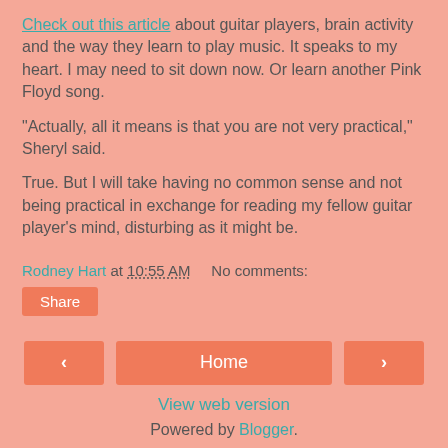Check out this article about guitar players, brain activity and the way they learn to play music. It speaks to my heart. I may need to sit down now. Or learn another Pink Floyd song.
"Actually, all it means is that you are not very practical," Sheryl said.
True. But I will take having no common sense and not being practical in exchange for reading my fellow guitar player's mind, disturbing as it might be.
Rodney Hart at 10:55 AM   No comments:
Share
< Home > View web version Powered by Blogger.